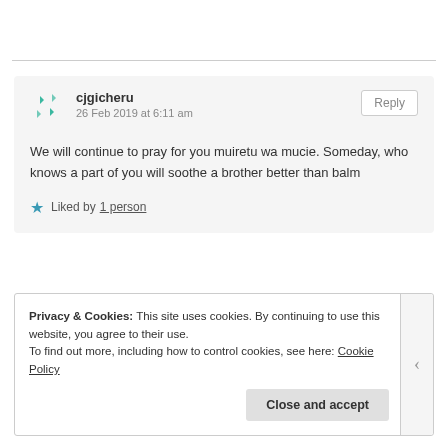cjgicheru
26 Feb 2019 at 6:11 am
We will continue to pray for you muiretu wa mucie. Someday, who knows a part of you will soothe a brother better than balm
Liked by 1 person
Privacy & Cookies: This site uses cookies. By continuing to use this website, you agree to their use. To find out more, including how to control cookies, see here: Cookie Policy
Close and accept